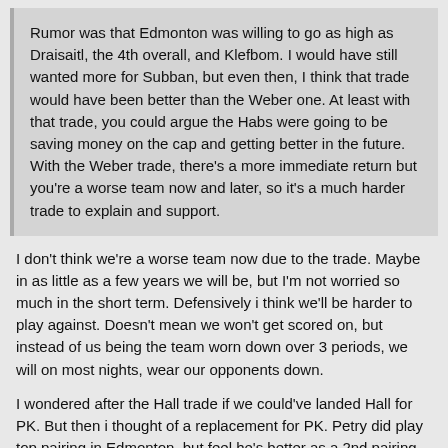Rumor was that Edmonton was willing to go as high as Draisaitl, the 4th overall, and Klefbom. I would have still wanted more for Subban, but even then, I think that trade would have been better than the Weber one. At least with that trade, you could argue the Habs were going to be saving money on the cap and getting better in the future. With the Weber trade, there's a more immediate return but you're a worse team now and later, so it's a much harder trade to explain and support.
I don't think we're a worse team now due to the trade. Maybe in as little as a few years we will be, but I'm not worried so much in the short term. Defensively i think we'll be harder to play against. Doesn't mean we won't get scored on, but instead of us being the team worn down over 3 periods, we will on most nights, wear our opponents down.
I wondered after the Hall trade if we could've landed Hall for PK. But then i thought of a replacement for PK. Petry did play top pairing in Edmonton, but feel he's better as a 2nd pairing. Although our top 6 would've had 2 elite players, Hall & Chuck, our defense would've been set back maybe 5 years. At least we have an accomplished top pairing dman, for the short term. But it didn't help our offense, in fact, right after